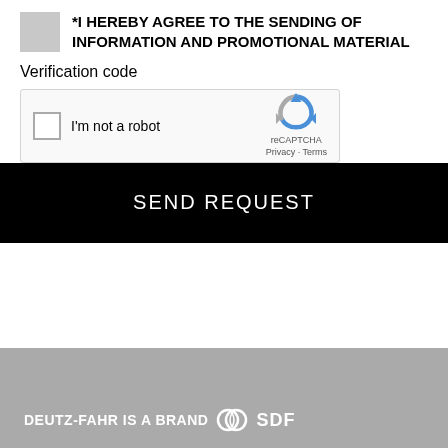*I HEREBY AGREE TO THE SENDING OF INFORMATION AND PROMOTIONAL MATERIAL
Verification code
[Figure (screenshot): reCAPTCHA widget with checkbox 'I'm not a robot' and reCAPTCHA logo with Privacy - Terms links]
SEND REQUEST
DEUTZ-FAHR IS A BRAND SDF